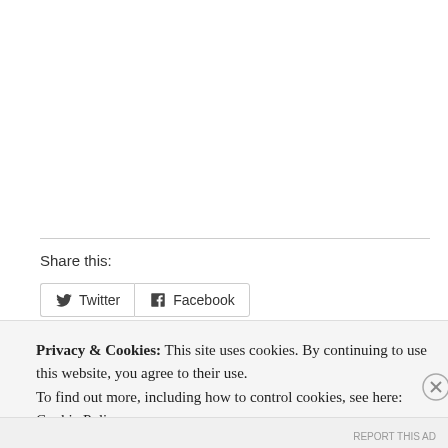Share this:
[Figure (screenshot): Twitter and Facebook share buttons]
Privacy & Cookies: This site uses cookies. By continuing to use this website, you agree to their use.
To find out more, including how to control cookies, see here:
Cookie Policy
Close and accept